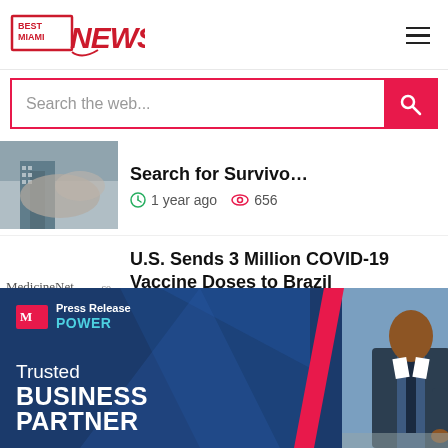[Figure (logo): Best Miami News logo with red text and swoosh]
Search the web...
Search for Survivo…
1 year ago   656
U.S. Sends 3 Million COVID-19 Vaccine Doses to Brazil
1 year ago   604
[Figure (infographic): Press Release Power — Trusted Business Partner advertisement banner with dark blue background and businessman photo]